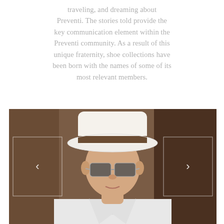traveling, and dreaming about Preventi. The stories told provide the key communication element within the Preventi community. As a result of this unique fraternity, shoe collections have been born with the names of some of its most relevant members.
[Figure (photo): A man wearing a white panama hat with a brown band and stylish sunglasses, dressed in a white shirt, photographed from mid-chest up against a warm brown background. Navigation arrows (< and >) are overlaid on left and right sides of the image.]